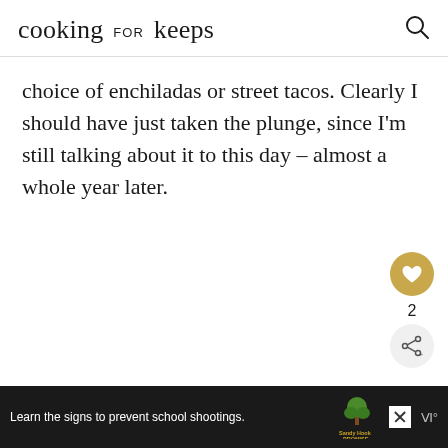cooking for keeps
choice of enchiladas or street tacos. Clearly I should have just taken the plunge, since I'm still talking about it to this day – almost a whole year later.
[Figure (other): Ad banner at bottom: dark background with text 'Learn the signs to prevent school shootings.' alongside Sandy Hook Promise logo and tree graphic, with close button and brand watermark]
[Figure (other): Floating social action buttons on right side: gold heart/like button, count '2', and grey share button]